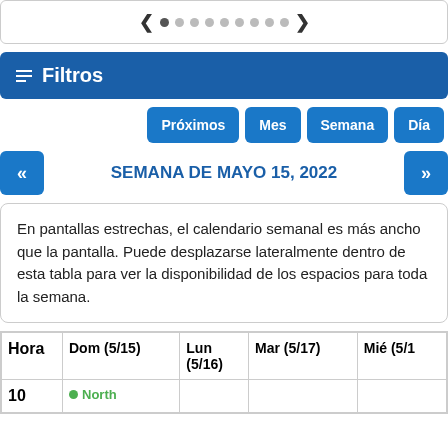[Figure (screenshot): Pagination carousel with left arrow, 9 dots (first active), right arrow]
Filtros
Próximos
Mes
Semana
Día
SEMANA DE MAYO 15, 2022
En pantallas estrechas, el calendario semanal es más ancho que la pantalla. Puede desplazarse lateralmente dentro de esta tabla para ver la disponibilidad de los espacios para toda la semana.
| Hora | Dom (5/15) | Lun (5/16) | Mar (5/17) | Mié (5/1… |
| --- | --- | --- | --- | --- |
| 10 | North… |  |  |  |